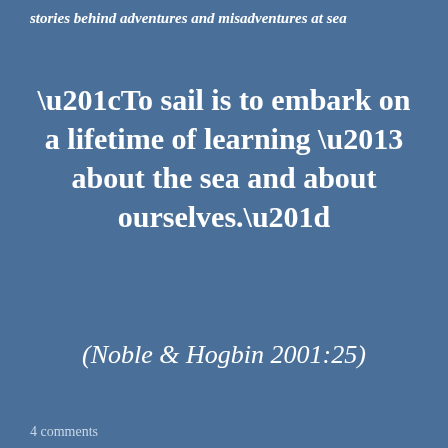stories behind adventures and misadventures at sea
“To sail is to embark on a lifetime of learning – about the sea and about ourselves.”
(Noble & Hogbin 2001:25)
4 comments